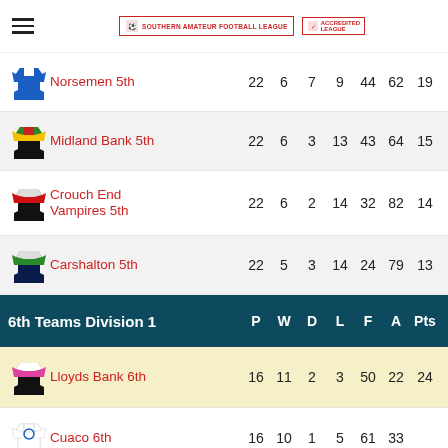Southern Amateur Football League
| Team | P | W | D | L | F | A | Pts |
| --- | --- | --- | --- | --- | --- | --- | --- |
| Norsemen 5th | 22 | 6 | 7 | 9 | 44 | 62 | 19 |
| Midland Bank 5th | 22 | 6 | 3 | 13 | 43 | 64 | 15 |
| Crouch End Vampires 5th | 22 | 6 | 2 | 14 | 32 | 82 | 14 |
| Carshalton 5th | 22 | 5 | 3 | 14 | 24 | 79 | 13 |
6th Teams Division 1  P  W  D  L  F  A  Pts
| Team | P | W | D | L | F | A | Pts |
| --- | --- | --- | --- | --- | --- | --- | --- |
| Lloyds Bank 6th | 16 | 11 | 2 | 3 | 50 | 22 | 24 |
| Cuaco 6th | 16 | 10 | 1 | 5 | 61 | 33 |  |
| Carshalton 6th | 16 | 8 | 2 | 6 | 48 | 39 |  |
| Borough Polytechnic 6th | 16 | 8 | 1 | 7 | 45 | 52 | 17 |